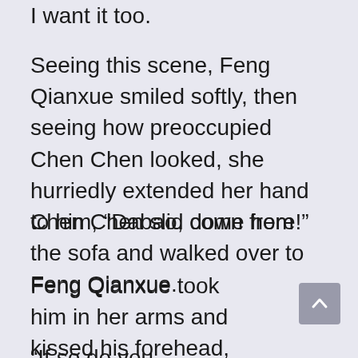I want it too.
Seeing this scene, Feng Qianxue smiled softly, then seeing how preoccupied Chen Chen looked, she hurriedly extended her hand to him, “Dabao, come here!”
Chen Chen slid down from the sofa and walked over to Feng Qianxue.
Feng Qianxue took him in her arms and kissed his forehead, “Dabao, do you have any more questions?”
“If so do you...